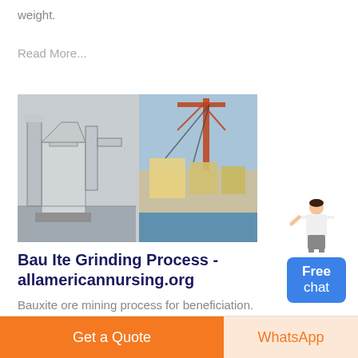weight.
Read More...
[Figure (photo): Two industrial images side by side: left shows large grinding/milling machinery with pipes and ducts in a factory setting; right shows heavy construction equipment being loaded or unloaded at a port with a crane.]
[Figure (illustration): Free chat widget: a woman figure pointing, with a blue button labeled 'Free chat']
Bau Ite Grinding Process - allamericannursing.org
Bauxite ore mining process for beneficiation. beneficiation process of bauxite ore essentialgap.co.za. bauxite beneficiation equipment for
Get a Quote
WhatsApp